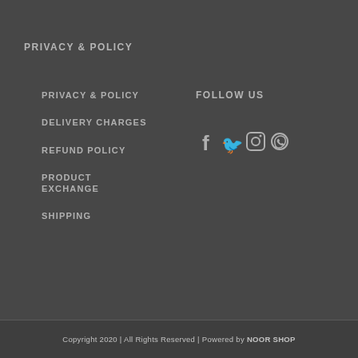PRIVACY & POLICY
PRIVACY & POLICY
DELIVERY CHARGES
REFUND POLICY
PRODUCT EXCHANGE
SHIPPING
FOLLOW US
[Figure (infographic): Social media icons: Facebook, Twitter, Instagram, WhatsApp]
Copyright 2020 | All Rights Reserved | Powered by NOOR SHOP